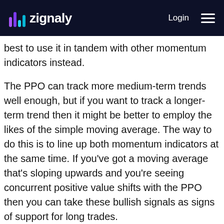zignaly — Login
best to use it in tandem with other momentum indicators instead.
The PPO can track more medium-term trends well enough, but if you want to track a longer-term trend then it might be better to employ the likes of the simple moving average. The way to do this is to line up both momentum indicators at the same time. If you’ve got a moving average that’s sloping upwards and you’re seeing concurrent positive value shifts with the PPO then you can take these bullish signals as signs of support for long trades.